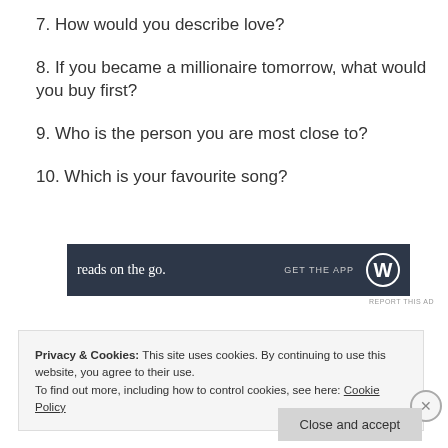7. How would you describe love?
8. If you became a millionaire tomorrow, what would you buy first?
9. Who is the person you are most close to?
10. Which is your favourite song?
[Figure (other): Advertisement banner with dark background showing 'reads on the go.' text and Wattpad logo]
REPORT THIS AD
Privacy & Cookies: This site uses cookies. By continuing to use this website, you agree to their use.
To find out more, including how to control cookies, see here: Cookie Policy
Close and accept